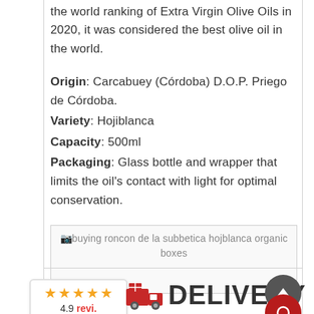the world ranking of Extra Virgin Olive Oils in 2020, it was considered the best olive oil in the world.
Origin: Carcabuey (Córdoba) D.O.P. Priego de Córdoba.
Variety: Hojiblanca
Capacity: 500ml
Packaging: Glass bottle and wrapper that limits the oil's contact with light for optimal conservation.
[Figure (photo): Image placeholder showing 'buying roncon de la subbetica hojblanca organic boxes']
4.9 revi.
DELIVERY